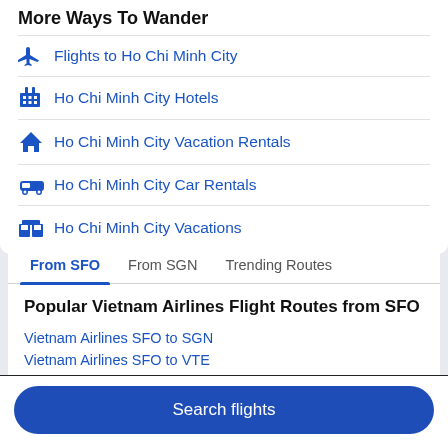More Ways To Wander
Flights to Ho Chi Minh City
Ho Chi Minh City Hotels
Ho Chi Minh City Vacation Rentals
Ho Chi Minh City Car Rentals
Ho Chi Minh City Vacations
Things to do in Ho Chi Minh City
From SFO
From SGN
Trending Routes
Popular Vietnam Airlines Flight Routes from SFO
Vietnam Airlines SFO to SGN
Vietnam Airlines SFO to VTE
Search flights